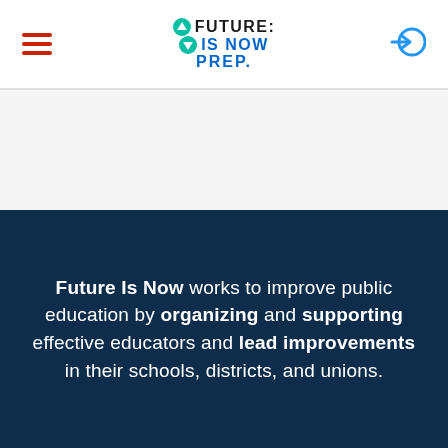Future: Is Now Prep. — Navigation header with hamburger menu and login icon
Future Is Now works to improve public education by organizing and supporting effective educators and lead improvements in their schools, districts, and unions.